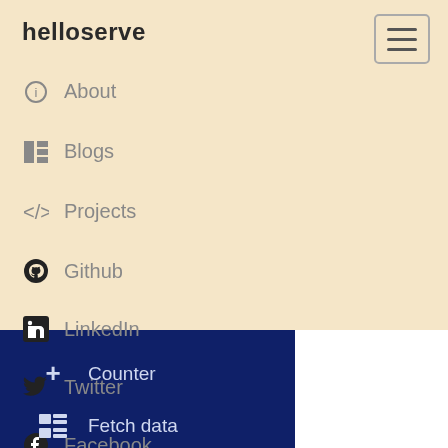helloserve
About
Blogs
Projects
Github
LinkedIn
Twitter
Facebook
Counter
Fetch data